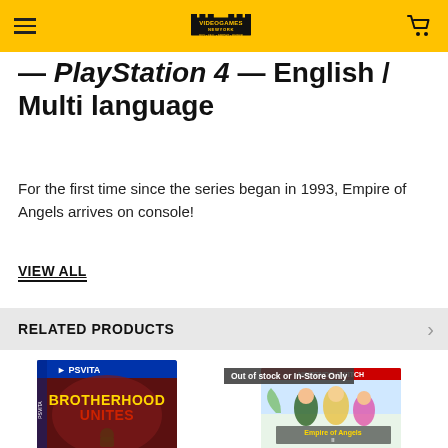Video Games New York — BUY • SELL • IMPORT • REPAIR
Empire of Angels IV PlayStation 4 – English / Multi language
For the first time since the series began in 1993, Empire of Angels arrives on console!
VIEW ALL
RELATED PRODUCTS
[Figure (photo): PS Vita game case for Brotherhood United]
[Figure (photo): Nintendo Switch game case for Empire of Angels II with 'Out of stock or In-Store Only' badge]